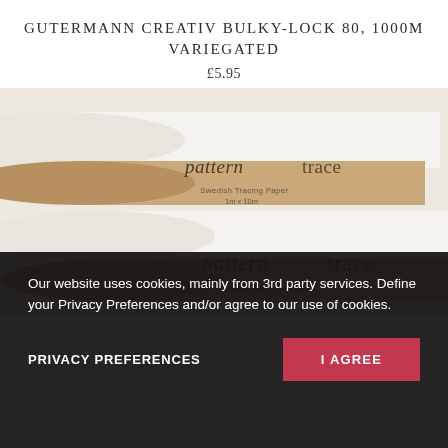GUTERMANN CREATIV BULKY-LOCK 80, 1000M VARIEGATED
£5.95
[Figure (photo): Two rolls of Patterntrace Swedish Tracing Paper (1m x 10m) with beige cardboard centers and white paper, photographed close-up on a white background]
Our website uses cookies, mainly from 3rd party services. Define your Privacy Preferences and/or agree to our use of cookies.
PRIVACY PREFERENCES
I AGREE